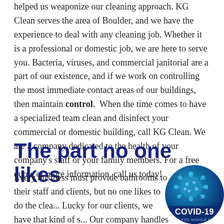helped us weaponize our cleaning approach. KG Clean serves the area of Boulder, and we have the experience to deal with any cleaning job. Whether it is a professional or domestic job, we are here to serve you. Bacteria, viruses, and commercial janitorial are a part of our existence, and if we work on controlling the most immediate contact areas of our buildings, then maintain control.  When the time comes to have a specialized team clean and disinfect your commercial or domestic building, call KG Clean. We are a company dedicated to the health of your company's staff or your family members. For a free quote or more information, call us today!
The part no one likes
Every business must provide bathrooms to their staff and clients, but no one likes to do the clea... Lucky for our clients, we have that kind of s... Our company handles all types of cleaning i...
[Figure (illustration): COVID-19 circular badge with coronavirus illustration and text 'COVID-19 WHAT YOU SHOULD KNOW']